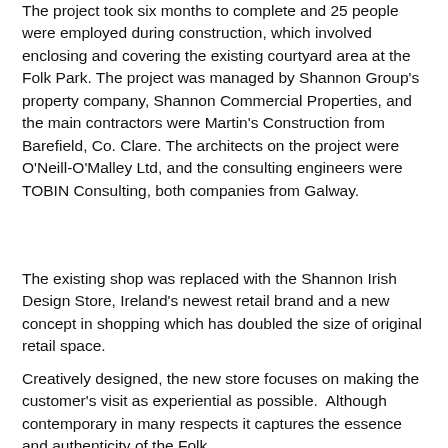The project took six months to complete and 25 people were employed during construction, which involved enclosing and covering the existing courtyard area at the Folk Park. The project was managed by Shannon Group's property company, Shannon Commercial Properties, and the main contractors were Martin's Construction from Barefield, Co. Clare. The architects on the project were O'Neill-O'Malley Ltd, and the consulting engineers were TOBIN Consulting, both companies from Galway.
The existing shop was replaced with the Shannon Irish Design Store, Ireland's newest retail brand and a new concept in shopping which has doubled the size of original retail space.
Creatively designed, the new store focuses on making the customer's visit as experiential as possible.  Although contemporary in many respects it captures the essence and authenticity of the Folk